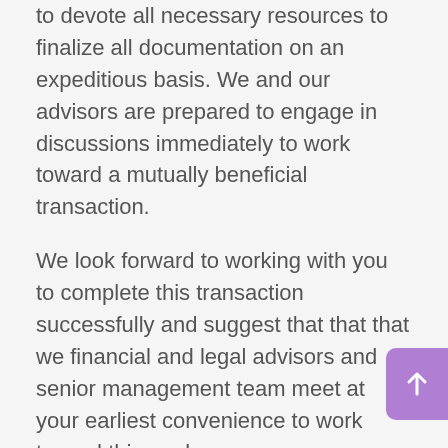to devote all necessary resources to finalize all documentation on an expeditious basis. We and our advisors are prepared to engage in discussions immediately to work toward a mutually beneficial transaction.
We look forward to working with you to complete this transaction successfully and suggest that that that we financial and legal advisors and senior management team meet at your earliest convenience to work toward this goal.
This letter does not constitute a